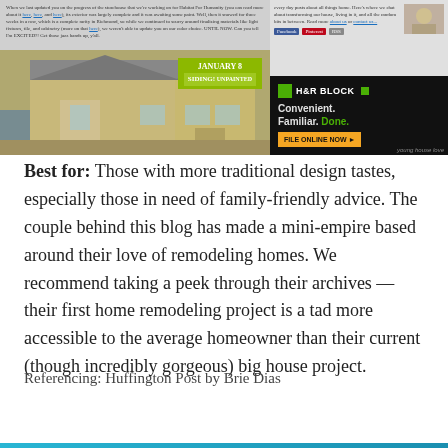[Figure (screenshot): Screenshot of a home improvement blog (Young House Love) showing a house under construction with siding, alongside an H&R Block advertisement. The blog post mentions Habitat For Humanity and a January 8 siding update. The ad reads 'H&R Block - Convenient. Familiar. Done. FILE ONLINE NOW']
Best for: Those with more traditional design tastes, especially those in need of family-friendly advice. The couple behind this blog has made a mini-empire based around their love of remodeling homes. We recommend taking a peek through their archives — their first home remodeling project is a tad more accessible to the average homeowner than their current (though incredibly gorgeous) big house project.
Referencing: Huffington Post by Brie Dias